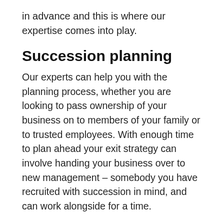in advance and this is where our expertise comes into play.
Succession planning
Our experts can help you with the planning process, whether you are looking to pass ownership of your business on to members of your family or to trusted employees. With enough time to plan ahead your exit strategy can involve handing your business over to new management – somebody you have recruited with succession in mind, and can work alongside for a time.
Selling your business